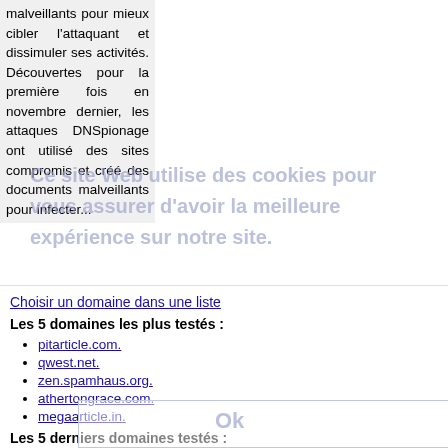malveillants pour mieux cibler l'attaquant et dissimuler ses activités. Découvertes pour la première fois en novembre dernier, les attaques DNSpionage ont utilisé des sites compromis et créé des documents malveillants pour infecter...
Ce site Web utilise des cookies pour vous assurer d'avoir la meilleure expérience sur notre site.
Les publicités sont gérées par Google AdSense et utilise des cookies pour collecter, partager et utiliser les données relatives à notre site. Détail
Choisir un domaine dans une liste
Les 5 domaines les plus testés :
pitarticle.com.
qwest.net.
zen.spamhaus.org.
athertongrace.com.
megaarticle.in.
Les 5 derniers domaines testés :
mbfys.ru.nl.
allware.fr.
lattmann.info.
smc.radio.at.